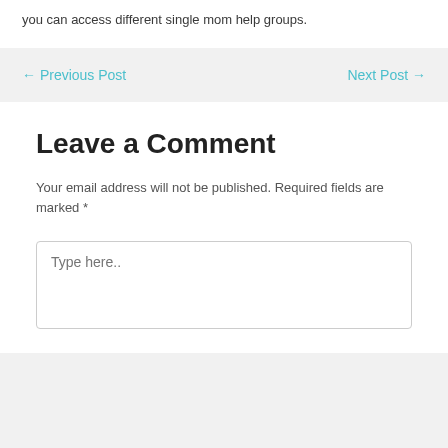you can access different single mom help groups.
← Previous Post
Next Post →
Leave a Comment
Your email address will not be published. Required fields are marked *
Type here..